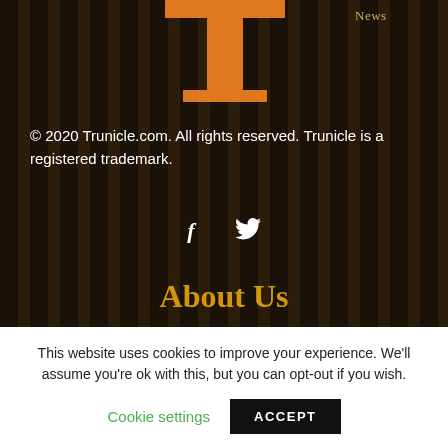[Figure (logo): Trunicle logo — orange T-shaped icon with 'News' label to the right]
© 2020 Trunicle.com. All rights reserved. Trunicle is a registered trademark.
[Figure (illustration): Social media icons: Facebook (f) and Twitter (bird)]
About Us
WRITE FOR US
ABOUT US
CONTACT US
SUBSCRIBE US
PRIVACY POLICY
This website uses cookies to improve your experience. We'll assume you're ok with this, but you can opt-out if you wish.
Cookie settings    ACCEPT